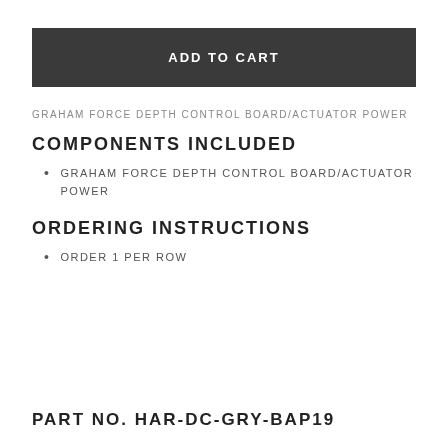ADD TO CART
GRAHAM FORCE DEPTH CONTROL BOARD/ACTUATOR POWER
COMPONENTS INCLUDED
GRAHAM FORCE DEPTH CONTROL BOARD/ACTUATOR POWER
ORDERING INSTRUCTIONS
ORDER 1 PER ROW
PART NO. HAR-DC-GRY-BAP19